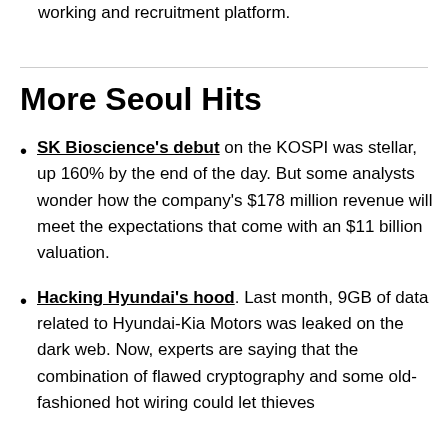working and recruitment platform.
More Seoul Hits
SK Bioscience's debut on the KOSPI was stellar, up 160% by the end of the day. But some analysts wonder how the company's $178 million revenue will meet the expectations that come with an $11 billion valuation.
Hacking Hyundai's hood. Last month, 9GB of data related to Hyundai-Kia Motors was leaked on the dark web. Now, experts are saying that the combination of flawed cryptography and some old-fashioned hot wiring could let thieves